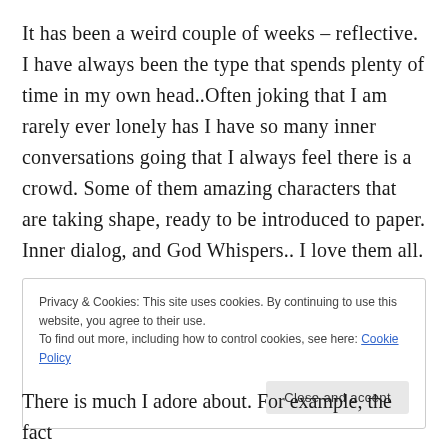It has been a weird couple of weeks – reflective. I have always been the type that spends plenty of time in my own head..Often joking that I am rarely ever lonely has I have so many inner conversations going that I always feel there is a crowd. Some of them amazing characters that are taking shape, ready to be introduced to paper. Inner dialog, and God Whispers.. I love them all.
Privacy & Cookies: This site uses cookies. By continuing to use this website, you agree to their use.
To find out more, including how to control cookies, see here: Cookie Policy
There is much I adore about. For example, the fact